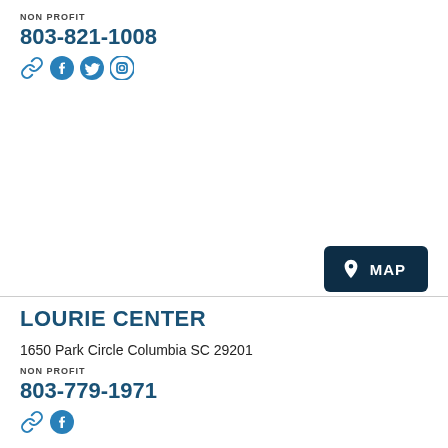NON PROFIT
803-821-1008
[Figure (infographic): Social media icons: link, Facebook, Twitter, Instagram]
[Figure (infographic): MAP button with location pin icon]
LOURIE CENTER
1650 Park Circle Columbia SC 29201
NON PROFIT
803-779-1971
[Figure (infographic): Social media icons: link, Facebook]